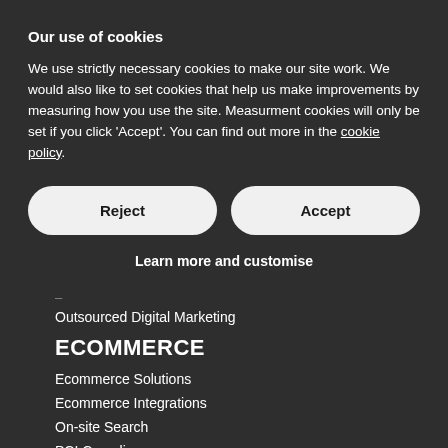Our use of cookies
We use strictly necessary cookies to make our site work. We would also like to set cookies that help us make improvements by measuring how you use the site. Measurment cookies will only be set if you click 'Accept'. You can find out more in the cookie policy.
Reject
Accept
Learn more and customise
-
Outsourced Digital Marketing
ECOMMERCE
Ecommerce Solutions
Ecommerce Integrations
On-site Search
PCI Compliance